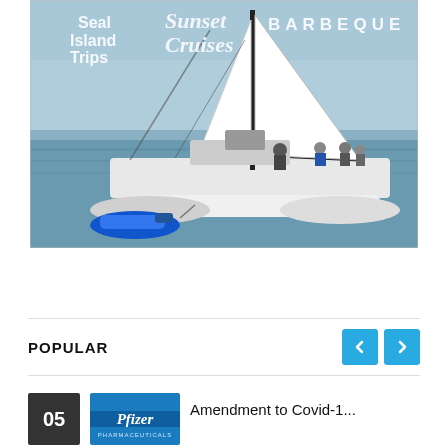[Figure (photo): A catamaran sailboat on open water with text overlays: 'Seal Island Trips', 'Sunset Cruises', 'BARBEQUE'. A jet ski is being towed behind. People are visible on the deck.]
POPULAR
[Figure (photo): Pfizer logo on a blue background thumbnail image]
Amendment to Covid-1...